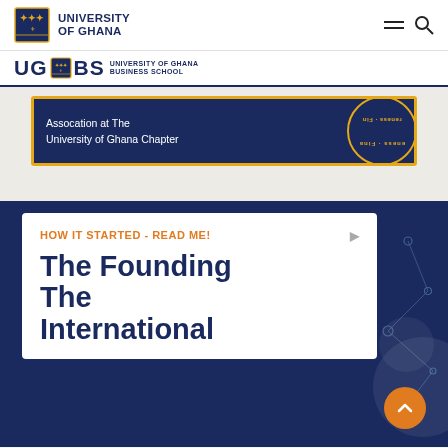UNIVERSITY OF GHANA
UG BS UNIVERSITY OF GHANA BUSINESS SCHOOL
[Figure (screenshot): Banner showing Financial Literacy Association at The University of Ghana Chapter with circular logo, dark blue background with gold border]
HOW IT STARTED - READ ME!
The Founding The International